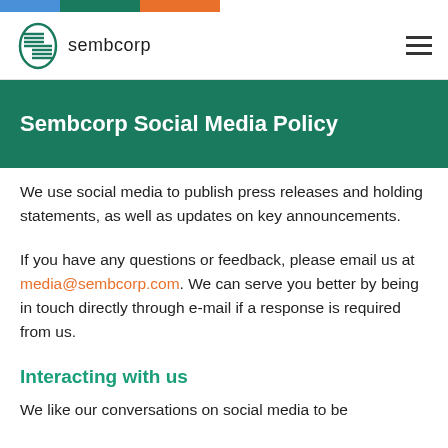[Figure (logo): Sembcorp logo with circular S symbol and company name 'sembcorp']
Sembcorp Social Media Policy
We use social media to publish press releases and holding statements, as well as updates on key announcements.
If you have any questions or feedback, please email us at media@sembcorp.com. We can serve you better by being in touch directly through e-mail if a response is required from us.
Interacting with us
We like our conversations on social media to be